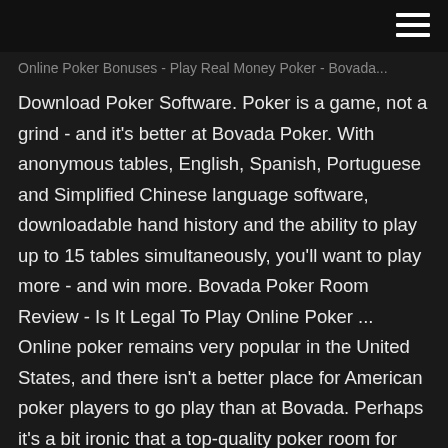Online Poker Bonuses - Play Real Money Poker - Bovada...
Download Poker Software. Poker is a game, not a grind - and it's better at Bovada Poker. With anonymous tables, English, Spanish, Portuguese and Simplified Chinese language software, downloadable hand history and the ability to play up to 15 tables simultaneously, you'll want to play more - and win more. Bovada Poker Room Review - Is It Legal To Play Online Poker ... Online poker remains very popular in the United States, and there isn't a better place for American poker players to go play than at Bovada. Perhaps it's a bit ironic that a top-quality poker room for U.S. players is located outside of the United States in terms of where it operates, but make no mistake, Bovada Poker is one of the best Internet poker rooms around. Online Poker |